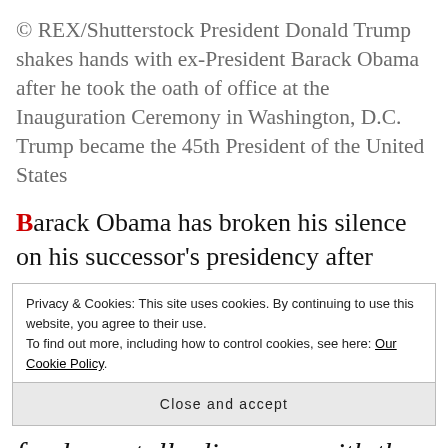© REX/Shutterstock President Donald Trump shakes hands with ex-President Barack Obama after he took the oath of office at the Inauguration Ceremony in Washington, D.C. Trump became the 45th President of the United States
Barack Obama has broken his silence on his successor's presidency after
Privacy & Cookies: This site uses cookies. By continuing to use this website, you agree to their use.
To find out more, including how to control cookies, see here: Our Cookie Policy
Close and accept
fundamentally disagrees with the